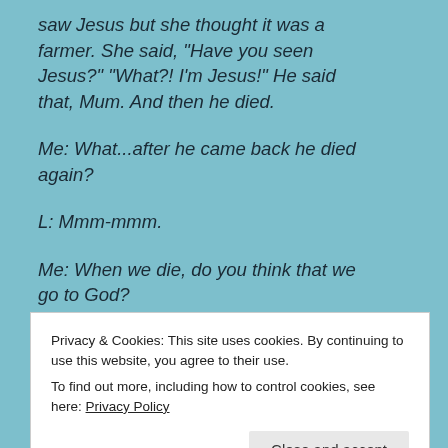saw Jesus but she thought it was a farmer. She said, "Have you seen Jesus?" "What?! I'm Jesus!" He said that, Mum. And then he died.

Me: What...after he came back he died again?

L: Mmm-mmm.

Me: When we die, do you think that we go to God?

L: But first we have a little visit. To see our friends again. It was like 5 minutes. One, two, three, four,
Privacy & Cookies: This site uses cookies. By continuing to use this website, you agree to their use.
To find out more, including how to control cookies, see here: Privacy Policy
Me: Well, some people believe in a place called